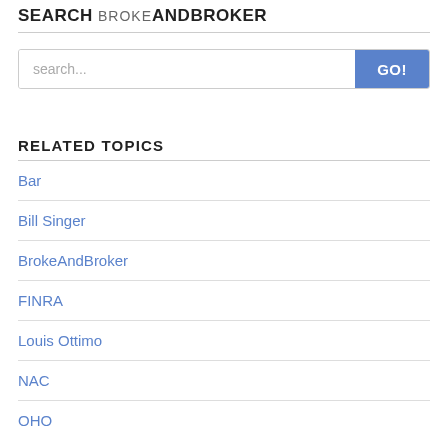SEARCH BROKEANDBROKER
search...
RELATED TOPICS
Bar
Bill Singer
BrokeAndBroker
FINRA
Louis Ottimo
NAC
OHO